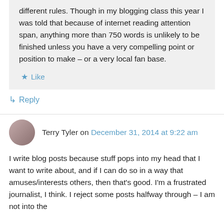different rules. Though in my blogging class this year I was told that because of internet reading attention span, anything more than 750 words is unlikely to be finished unless you have a very compelling point or position to make – or a very local fan base.
★ Like
↳ Reply
Terry Tyler on December 31, 2014 at 9:22 am
I write blog posts because stuff pops into my head that I want to write about, and if I can do so in a way that amuses/interests others, then that's good. I'm a frustrated journalist, I think. I reject some posts halfway through – I am not into the